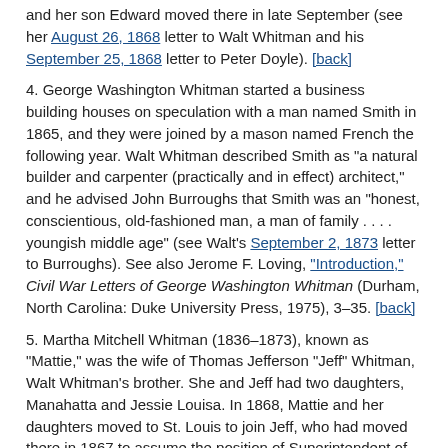and her son Edward moved there in late September (see her August 26, 1868 letter to Walt Whitman and his September 25, 1868 letter to Peter Doyle). [back]
4. George Washington Whitman started a business building houses on speculation with a man named Smith in 1865, and they were joined by a mason named French the following year. Walt Whitman described Smith as "a natural builder and carpenter (practically and in effect) architect," and he advised John Burroughs that Smith was an "honest, conscientious, old-fashioned man, a man of family . . . . youngish middle age" (see Walt's September 2, 1873 letter to Burroughs). See also Jerome F. Loving, "Introduction," Civil War Letters of George Washington Whitman (Durham, North Carolina: Duke University Press, 1975), 3–35. [back]
5. Martha Mitchell Whitman (1836–1873), known as "Mattie," was the wife of Thomas Jefferson "Jeff" Whitman, Walt Whitman's brother. She and Jeff had two daughters, Manahatta and Jessie Louisa. In 1868, Mattie and her daughters moved to St. Louis to join Jeff, who had moved there in 1867 to assume the position of Superintendent of